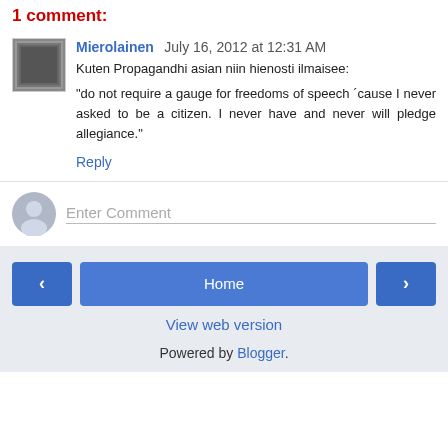1 comment:
Mierolainen  July 16, 2012 at 12:31 AM
Kuten Propagandhi asian niin hienosti ilmaisee:
"do not require a gauge for freedoms of speech ´cause I never asked to be a citizen. I never have and never will pledge allegiance."
Reply
Enter Comment
Home
View web version
Powered by Blogger.